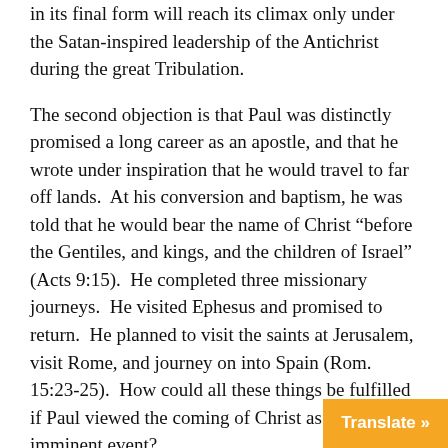in its final form will reach its climax only under the Satan-inspired leadership of the Antichrist during the great Tribulation.
The second objection is that Paul was distinctly promised a long career as an apostle, and that he wrote under inspiration that he would travel to far off lands. At his conversion and baptism, he was told that he would bear the name of Christ “before the Gentiles, and kings, and the children of Israel” (Acts 9:15). He completed three missionary journeys. He visited Ephesus and promised to return. He planned to visit the saints at Jerusalem, visit Rome, and journey on into Spain (Rom. 15:23-25). How could all these things be fulfilled if Paul viewed the coming of Christ as an imminent event?
The answer to the problem lies in the fact that Paul served the Lord in the spirit of the exhortation, “Occupy till I come” (Luke 19:13). All of his plans, including these proposed journeys, were contingent on the Lord’s lea… further revelation of God’s will for his life.